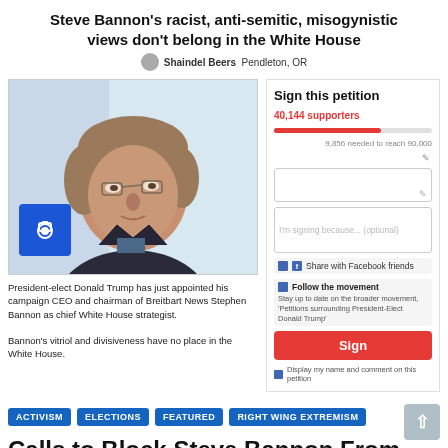Steve Bannon's racist, anti-semitic, misogynistic views don't belong in the White House
Shaindel Beers  Pendleton, OR
[Figure (photo): Photo of Steve Bannon, a middle-aged white man with grey-brown hair, wearing a dark jacket, looking to the side. A blue camera icon overlay appears in the lower-left of the photo.]
President-elect Donald Trump has just appointed his campaign CEO and chairman of Breitbart News Stephen Bannon as chief White House strategist.

Bannon's vitriol and divisiveness have no place in the White House.
Sign this petition
40,144 supporters
9,856 needed to reach 90,000
I'm signing because... (optional)
Share with Facebook friends
Follow the movement
Stay up to date on the broader movement, 'Petitions surrounding President-Elect Donald Trump'
Sign
Display my name and comment on this petition
ACTIVISM
ELECTIONS
FEATURED
RIGHT WING EXTREMISM
Calls to Block Steve Bannon From White House Begun